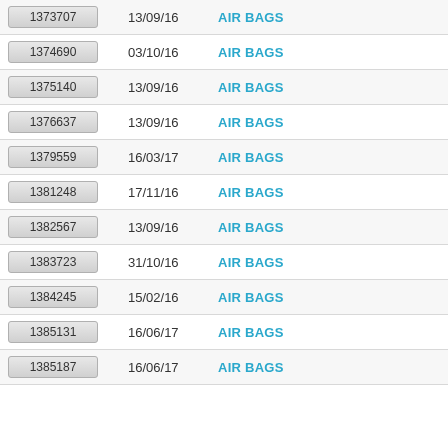| ID | Date | Category |
| --- | --- | --- |
| 1373707 | 13/09/16 | AIR BAGS |
| 1374690 | 03/10/16 | AIR BAGS |
| 1375140 | 13/09/16 | AIR BAGS |
| 1376637 | 13/09/16 | AIR BAGS |
| 1379559 | 16/03/17 | AIR BAGS |
| 1381248 | 17/11/16 | AIR BAGS |
| 1382567 | 13/09/16 | AIR BAGS |
| 1383723 | 31/10/16 | AIR BAGS |
| 1384245 | 15/02/16 | AIR BAGS |
| 1385131 | 16/06/17 | AIR BAGS |
| 1385187 | 16/06/17 | AIR BAGS |